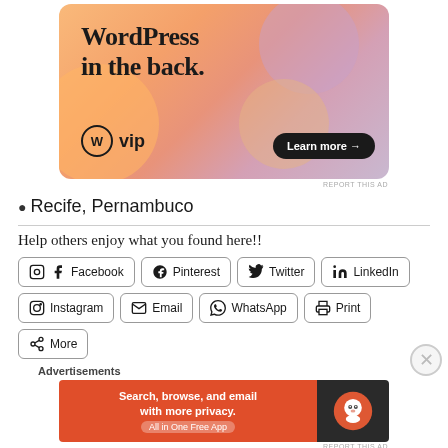[Figure (illustration): WordPress VIP advertisement banner with colorful gradient background (orange, pink, lavender blobs), large text 'WordPress in the back.', WordPress VIP logo, and 'Learn more →' button.]
REPORT THIS AD
⬡ Recife, Pernambuco
Help others enjoy what you found here!!
Facebook
Pinterest
Twitter
LinkedIn
Instagram
Email
WhatsApp
Print
More
Advertisements
[Figure (illustration): DuckDuckGo advertisement: orange background with text 'Search, browse, and email with more privacy. All in One Free App' and DuckDuckGo logo on dark background.]
REPORT THIS AD